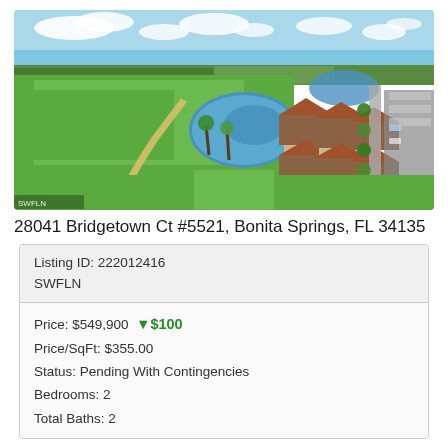[Figure (photo): Aerial drone photo of a Florida residential community with golf course, lake/pond, palm trees, townhomes with terracotta roofs, and parking lots. Blue sky with clouds in the background.]
28041 Bridgetown Ct #5521, Bonita Springs, FL 34135
| Listing ID: 222012416 |
| SWFLN |
| Price: $549,900  ▼$100 |
| Price/SqFt: $355.00 |
| Status: Pending With Contingencies |
| Bedrooms: 2 |
| Total Baths: 2 |